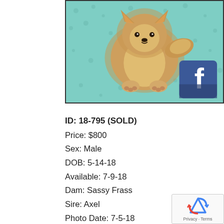[Figure (photo): A fluffy Pomeranian puppy sitting on a teal/mint green polka-dot fabric background. A Facebook icon is overlaid in the lower right corner of the photo.]
ID: 18-795 (SOLD)
Price: $800
Sex: Male
DOB: 5-14-18
Available: 7-9-18
Dam: Sassy Frass
Sire: Axel
Photo Date: 7-5-18